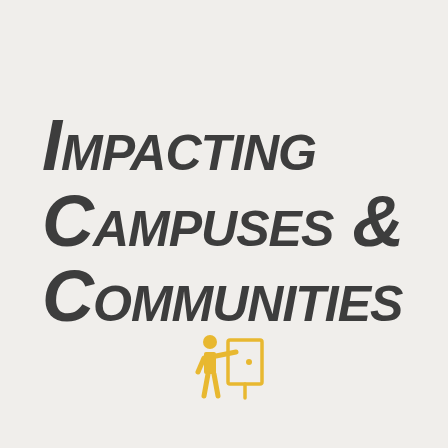Impacting Campuses & Communities
[Figure (illustration): Yellow icon of a person standing next to a presentation board/whiteboard, pointing at it]